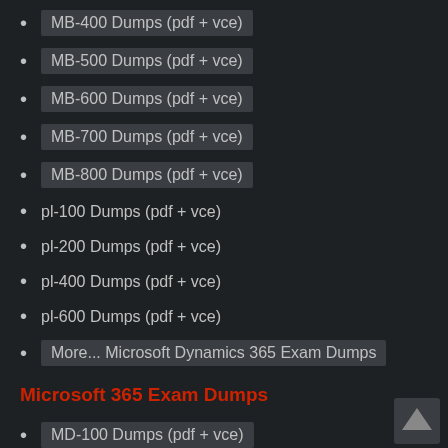MB-400 Dumps (pdf + vce)
MB-500 Dumps (pdf + vce)
MB-600 Dumps (pdf + vce)
MB-700 Dumps (pdf + vce)
MB-800 Dumps (pdf + vce)
pl-100 Dumps (pdf + vce)
pl-200 Dumps (pdf + vce)
pl-400 Dumps (pdf + vce)
pl-600 Dumps (pdf + vce)
More... Microsoft Dynamics 365 Exam Dumps
Microsoft 365 Exam Dumps
MD-100 Dumps (pdf + vce)
MD-101 Dumps (pdf + vce)
MS-100 Dumps (pdf + vce)
MS-101 Dumps (pdf + vce)